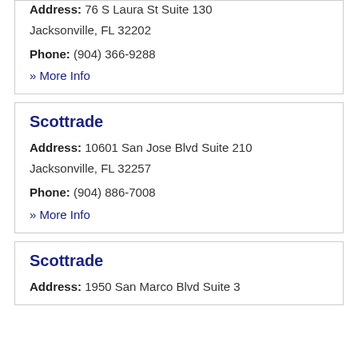Address: 76 S Laura St Suite 130 Jacksonville, FL 32202
Phone: (904) 366-9288
» More Info
Scottrade
Address: 10601 San Jose Blvd Suite 210 Jacksonville, FL 32257
Phone: (904) 886-7008
» More Info
Scottrade
Address: 1950 San Marco Blvd Suite 3